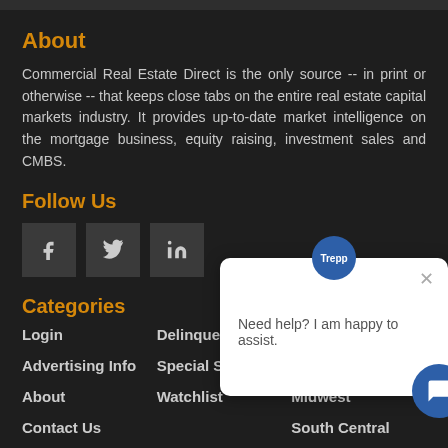About
Commercial Real Estate Direct is the only source -- in print or otherwise -- that keeps close tabs on the entire real estate capital markets industry. It provides up-to-date market intelligence on the mortgage business, equity raising, investment sales and CMBS.
Follow Us
[Figure (illustration): Three social media icon buttons: Facebook (f), Twitter (bird), LinkedIn (in), on dark grey square backgrounds]
Categories
Login
Advertising Info
About
Contact Us
Delinquency
Special Servicing
Watchlist
Mid-Atlantic
Northeast
Midwest
South Central
[Figure (screenshot): Chat popup overlay with Trepp badge, message 'Need help? I am happy to assist.', close button, and chat icon button]